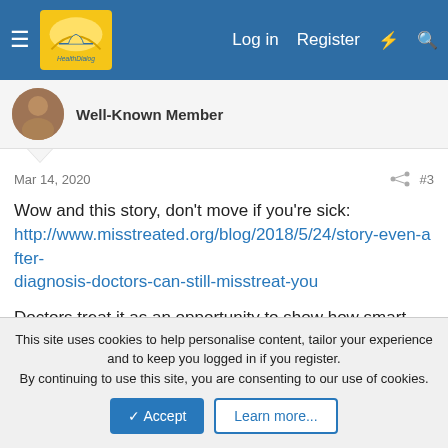HealthDialog — Log in | Register
Well-Known Member
Mar 14, 2020  #3
Wow and this story, don't move if you're sick: http://www.misstreated.org/blog/2018/5/24/story-even-after-diagnosis-doctors-can-still-misstreat-you
Doctors treat it as an opportunity to show how smart they are. At your expense.
JameDiagonal — Active Member
This site uses cookies to help personalise content, tailor your experience and to keep you logged in if you register. By continuing to use this site, you are consenting to our use of cookies.